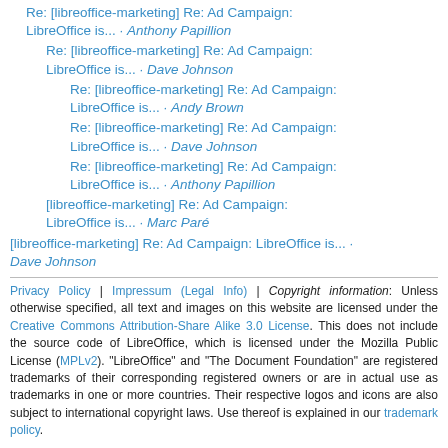Re: [libreoffice-marketing] Re: Ad Campaign: LibreOffice is... · Anthony Papillion
Re: [libreoffice-marketing] Re: Ad Campaign: LibreOffice is... · Dave Johnson
Re: [libreoffice-marketing] Re: Ad Campaign: LibreOffice is... · Andy Brown
Re: [libreoffice-marketing] Re: Ad Campaign: LibreOffice is... · Dave Johnson
Re: [libreoffice-marketing] Re: Ad Campaign: LibreOffice is... · Anthony Papillion
[libreoffice-marketing] Re: Ad Campaign: LibreOffice is... · Marc Paré
[libreoffice-marketing] Re: Ad Campaign: LibreOffice is... · Dave Johnson
Privacy Policy | Impressum (Legal Info) | Copyright information: Unless otherwise specified, all text and images on this website are licensed under the Creative Commons Attribution-Share Alike 3.0 License. This does not include the source code of LibreOffice, which is licensed under the Mozilla Public License (MPLv2). "LibreOffice" and "The Document Foundation" are registered trademarks of their corresponding registered owners or are in actual use as trademarks in one or more countries. Their respective logos and icons are also subject to international copyright laws. Use thereof is explained in our trademark policy.